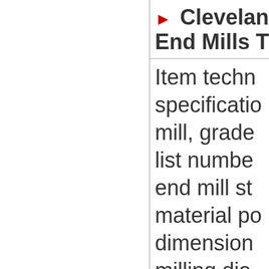Cleveland End Mills T
Item technical specifications: mill, grade, list number, end mill style, material po, dimensions, milling dia